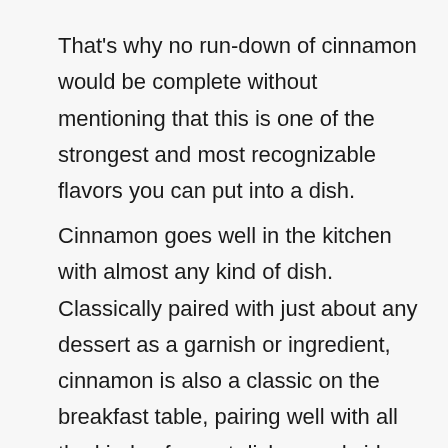That's why no run-down of cinnamon would be complete without mentioning that this is one of the strongest and most recognizable flavors you can put into a dish.
Cinnamon goes well in the kitchen with almost any kind of dish. Classically paired with just about any dessert as a garnish or ingredient, cinnamon is also a classic on the breakfast table, pairing well with all the kinds of sweet dishes and sides that can be served there like cereal, waffles, pancakes or oatmeal.